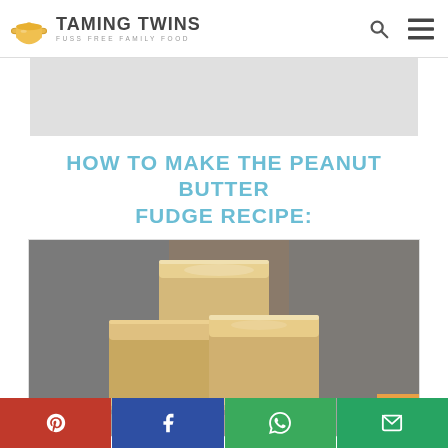TAMING TWINS - FUSS FREE FAMILY FOOD
[Figure (illustration): Grey advertisement banner rectangle]
HOW TO MAKE THE PEANUT BUTTER FUDGE RECIPE:
[Figure (photo): Close-up photograph of stacked peanut butter fudge cubes with creamy tan color]
Share buttons: Pinterest, Facebook, WhatsApp, Email